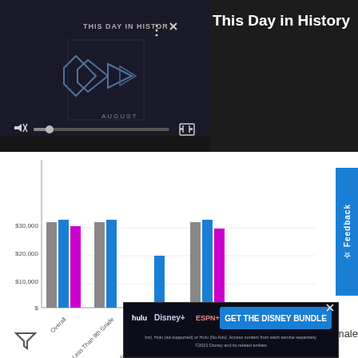[Figure (screenshot): Video player showing 'This Day in History' with dark background, play controls, mute button, progress bar, and fullscreen button]
This Day in History
[Figure (grouped-bar-chart): Income by Education Level]
[Figure (infographic): Legend showing All (gray), Male (blue), Female (magenta) color swatches with labels]
[Figure (screenshot): Disney Bundle advertisement: hulu, Disney+, ESPN+ logos with 'GET THE DISNEY BUNDLE' button and disclaimer text]